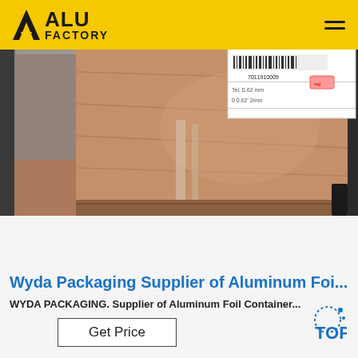ALU FACTORY
[Figure (photo): A wooden crate or plywood panel with a label/sticker attached showing product information including text '1735-0', '710', '156.5', barcode '7011910009', and other shipping details. The crate has a brownish-orange plywood appearance with some wrapping/tape visible.]
Wyda Packaging Supplier of Aluminum Foi...
WYDA PACKAGING. Supplier of Aluminum Foil Container...
Get Price